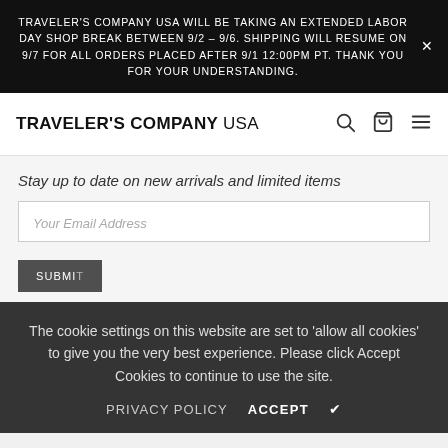TRAVELER'S COMPANY USA WILL BE TAKING AN EXTENDED LABOR DAY SHOP BREAK BETWEEN 9/2 – 9/6. SHIPPING WILL RESUME ON 9/7 FOR ALL ORDERS PLACED AFTER 9/1 12:00PM PT. THANK YOU FOR YOUR UNDERSTANDING.
TRAVELER'S COMPANY USA
Stay up to date on new arrivals and limited items
Your Email Address
The cookie settings on this website are set to 'allow all cookies' to give you the very best experience. Please click Accept Cookies to continue to use the site.
PRIVACY POLICY  ACCEPT ✔
ADD TO CART